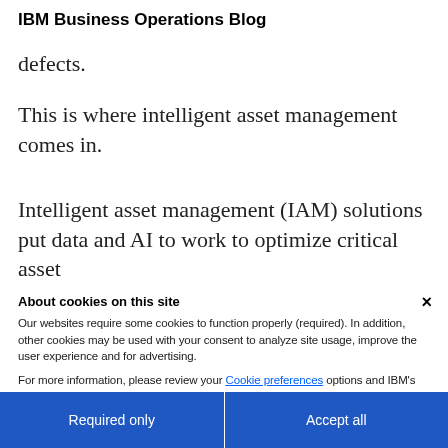IBM Business Operations Blog
defects.
This is where intelligent asset management comes in.
Intelligent asset management (IAM) solutions put data and AI to work to optimize critical asset
About cookies on this site
Our websites require some cookies to function properly (required). In addition, other cookies may be used with your consent to analyze site usage, improve the user experience and for advertising.
For more information, please review your Cookie preferences options and IBM's privacy statement.
Required only
Accept all